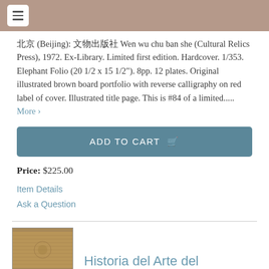北京 (Beijing): 文物出版社 Wen wu chu ban she (Cultural Relics Press), 1972. Ex-Library. Limited first edition. Hardcover. 1/353. Elephant Folio (20 1/2 x 15 1/2"). 8pp. 12 plates. Original illustrated brown board portfolio with reverse calligraphy on red label of cover. Illustrated title page. This is #84 of a limited..... More ›
ADD TO CART
Price: $225.00
Item Details
Ask a Question
Historia del Arte del